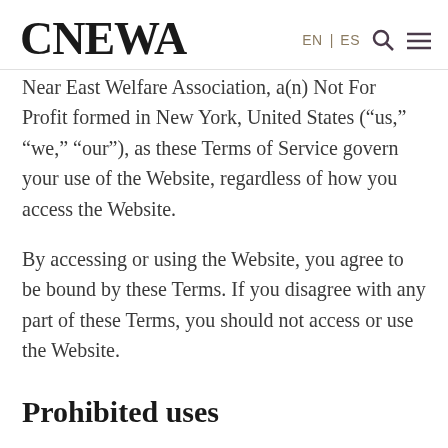CNEWA | EN | ES
Near East Welfare Association, a(n) Not For Profit formed in New York, United States (“us,” “we,” “our”), as these Terms of Service govern your use of the Website, regardless of how you access the Website.
By accessing or using the Website, you agree to be bound by these Terms. If you disagree with any part of these Terms, you should not access or use the Website.
Prohibited uses
You agree that you will use the Website in